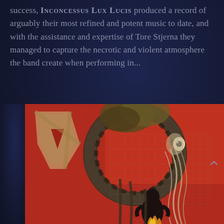success, INCONCESSUS LUX LUCIS produced a record of arguably their most refined and potent music to date, and with the assistance and expertise of Tore Stjerna they managed to capture the necrotic and violent atmosphere the band create when performing in...
[Figure (illustration): Album artwork on a red background featuring a large stylized letter or symbol in the upper left, and a surreal illustration of a creature or figure with an elaborate organic/leafy crown-like head, swirling tentacle or vine-like appendages forming a circular frame, with a smaller dark silhouetted figure below holding fire, set against a red and grey abstract background with mesh/grid patterns.]